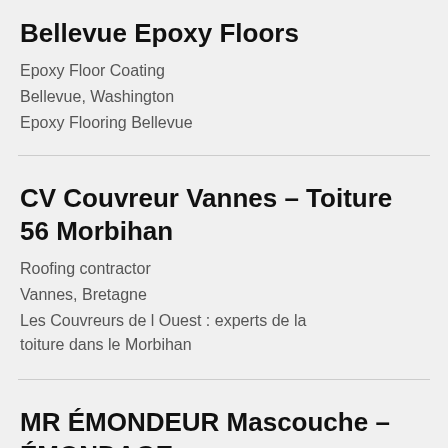Bellevue Epoxy Floors
Epoxy Floor Coating
Bellevue, Washington
Epoxy Flooring Bellevue
CV Couvreur Vannes – Toiture 56 Morbihan
Roofing contractor
Vannes, Bretagne
Les Couvreurs de l Ouest : experts de la toiture dans le Morbihan
MR ÉMONDEUR Mascouche – ÉMONDAG E